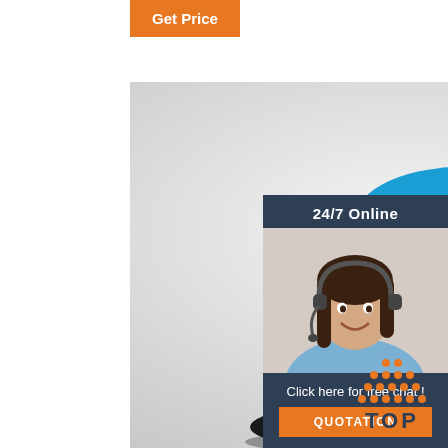Get Price
[Figure (photo): Stack of colorful bucket hats labeled 'THE RAWEST' in blue, pink, orange, brown, and black colors on a light background]
[Figure (photo): Customer service agent panel: dark blue sidebar with '24/7 Online' header, photo of smiling woman with headset, 'Click here for free chat!' text, and orange QUOTATION button]
24/7 Online
Click here for free chat !
QUOTATION
[Figure (illustration): TOP icon with orange dotted triangle above bold dark blue text 'TOP']